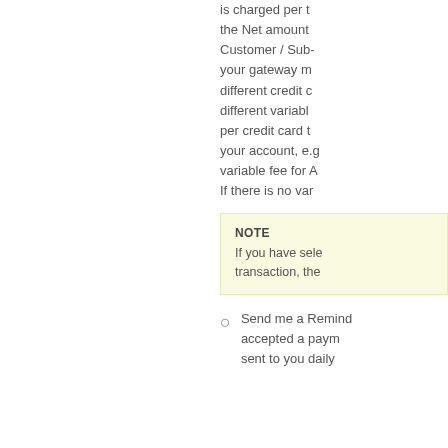is charged per transaction and is applied to the Net amount of the transaction. Customer / Sub-your gateway may have different credit card types, with different variable rates applied per credit card type within your account, e.g. you may have a variable fee for A and a variable fee for B. If there is no var
NOTE
If you have selected a per transaction, the
Send me a Reminder accepted a payment sent to you daily